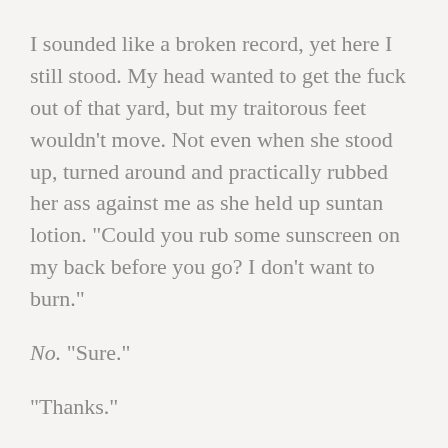I sounded like a broken record, yet here I still stood. My head wanted to get the fuck out of that yard, but my traitorous feet wouldn't move. Not even when she stood up, turned around and practically rubbed her ass against me as she held up suntan lotion. “Could you rub some sunscreen on my back before you go? I don’t want to burn.”
No. “Sure.”
“Thanks.”
I took the sunscreen and squeezed a glob of creamy white lotion into the palm of my hand. Swallowing hard, I began to rub it into her